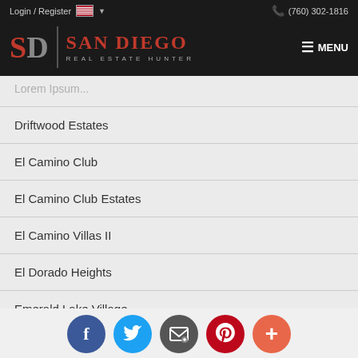Login / Register  (760) 302-1816
[Figure (logo): San Diego Real Estate Hunter logo with SD monogram on dark background]
Driftwood Estates
El Camino Club
El Camino Club Estates
El Camino Villas II
El Dorado Heights
Emerald Lake Village
Facebook, Twitter, Email, Pinterest, More social sharing buttons